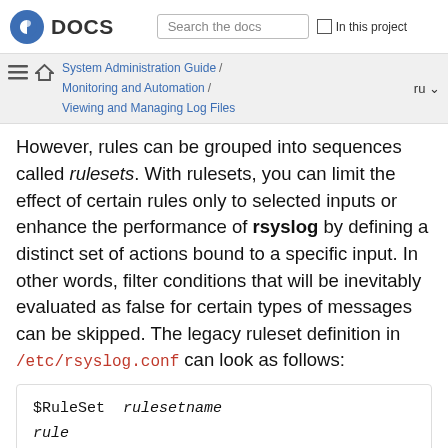Fedora DOCS | Search the docs | In this project
System Administration Guide / Monitoring and Automation / Viewing and Managing Log Files | ru
However, rules can be grouped into sequences called rulesets. With rulesets, you can limit the effect of certain rules only to selected inputs or enhance the performance of rsyslog by defining a distinct set of actions bound to a specific input. In other words, filter conditions that will be inevitably evaluated as false for certain types of messages can be skipped. The legacy ruleset definition in /etc/rsyslog.conf can look as follows:
$RuleSet rulesetname
rule